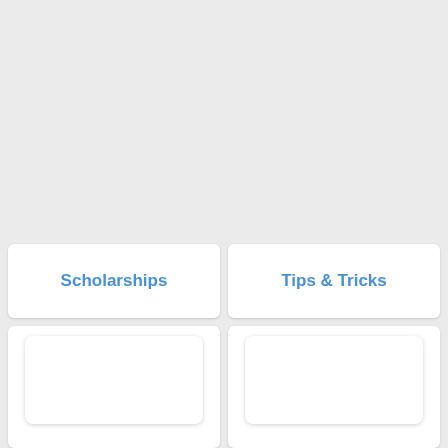Scholarships
Tips & Tricks
[Figure (screenshot): Empty white card panel below Scholarships section]
[Figure (screenshot): Empty white card panel below Tips & Tricks section]